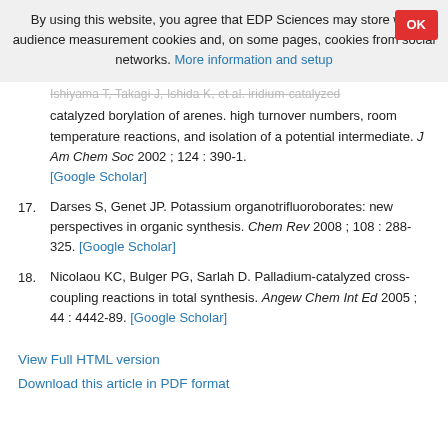By using this website, you agree that EDP Sciences may store web audience measurement cookies and, on some pages, cookies from social networks. More information and setup
catalyzed borylation of arenes. high turnover numbers, room temperature reactions, and isolation of a potential intermediate. J Am Chem Soc 2002 ; 124 : 390-1. [Google Scholar]
17. Darses S, Genet JP. Potassium organotrifluoroborates: new perspectives in organic synthesis. Chem Rev 2008 ; 108 : 288-325. [Google Scholar]
18. Nicolaou KC, Bulger PG, Sarlah D. Palladium-catalyzed cross-coupling reactions in total synthesis. Angew Chem Int Ed 2005 ; 44 : 4442-89. [Google Scholar]
View Full HTML version
Download this article in PDF format